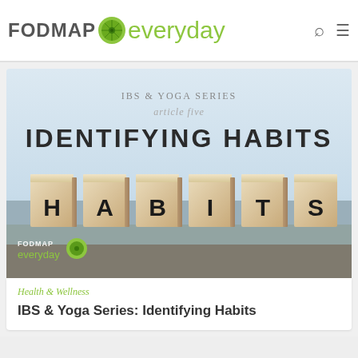FODMAP everyday
[Figure (photo): Article card image showing wooden letter blocks spelling HABITS on a table, with overlay text: IBS & YOGA SERIES article five IDENTIFYING HABITS. FODMAP everyday watermark logo in bottom left.]
Health & Wellness
IBS & Yoga Series: Identifying Habits